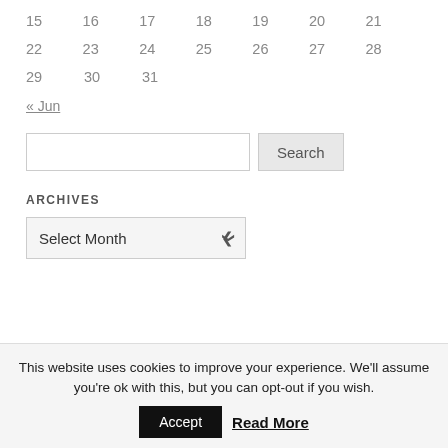| 15 | 16 | 17 | 18 | 19 | 20 | 21 |
| 22 | 23 | 24 | 25 | 26 | 27 | 28 |
| 29 | 30 | 31 |  |  |  |  |
« Jun
Search
ARCHIVES
Select Month
This website uses cookies to improve your experience. We'll assume you're ok with this, but you can opt-out if you wish.
Accept  Read More